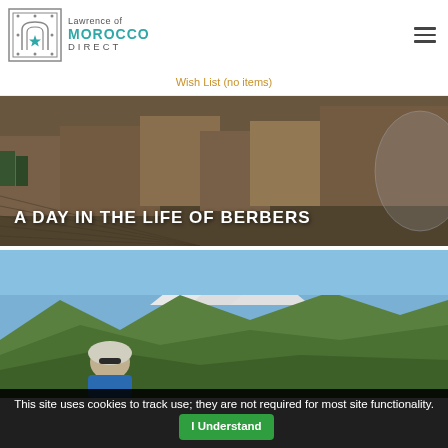Lawrence of Morocco Direct
Wish List (no items)
[Figure (photo): Aerial view of a Berber village with mudbrick buildings and agricultural fields, with text overlay 'A DAY IN THE LIFE OF BERBERS']
[Figure (photo): A cyclist with helmet and sunglasses in foreground, with snow-capped Atlas Mountains and green hills in background]
This site uses cookies to track use; they are not required for most site functionality. I Understand